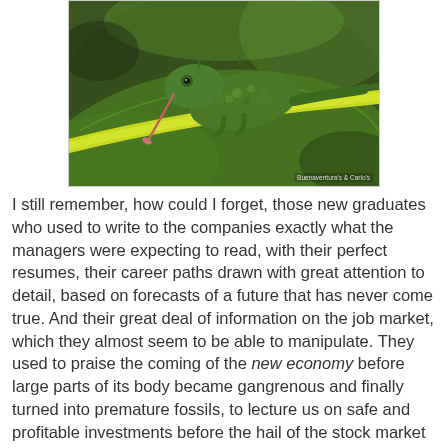[Figure (photo): A green chameleon perched on a yellow-green branch/stem with large leaves in the background. Photo credit: Buenaventura's & Carlo's]
I still remember, how could I forget, those new graduates who used to write to the companies exactly what the managers were expecting to read, with their perfect resumes, their career paths drawn with great attention to detail, based on forecasts of a future that has never come true. And their great deal of information on the job market, which they almost seem to be able to manipulate. They used to praise the coming of the new economy before large parts of its body became gangrenous and finally turned into premature fossils, to lecture us on safe and profitable investments before the hail of the stock market crises, to declare the dominance of finance over industry, work, service, innovative ideas before the tricks and the rottenness of that world emerged like excrements from the bottom of the